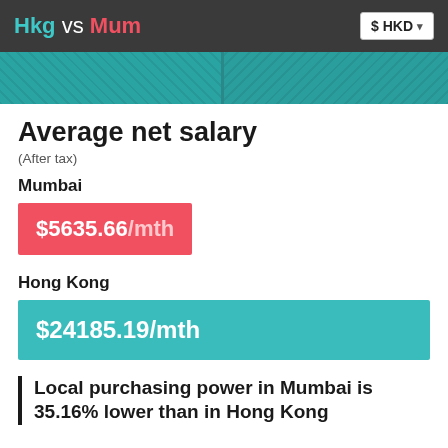Hkg vs Mum  $ HKD
[Figure (photo): Two teal-tinted photo panels showing street scenes from Hong Kong and Mumbai]
Average net salary
(After tax)
Mumbai
$5635.66/mth
Hong Kong
$24185.19/mth
Local purchasing power in Mumbai is 35.16% lower than in Hong Kong